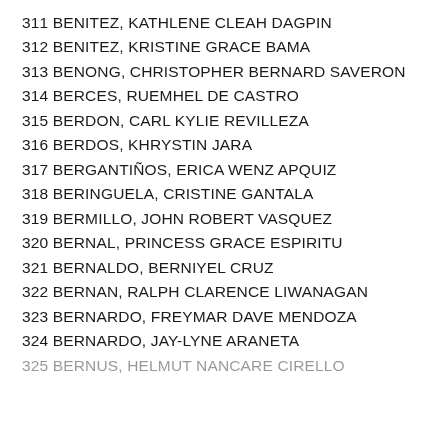311 BENITEZ, KATHLENE CLEAH DAGPIN
312 BENITEZ, KRISTINE GRACE BAMA
313 BENONG, CHRISTOPHER BERNARD SAVERON
314 BERCES, RUEMHEL DE CASTRO
315 BERDON, CARL KYLIE REVILLEZA
316 BERDOS, KHRYSTIN JARA
317 BERGANTIÑOS, ERICA WENZ APQUIZ
318 BERINGUELA, CRISTINE GANTALA
319 BERMILLO, JOHN ROBERT VASQUEZ
320 BERNAL, PRINCESS GRACE ESPIRITU
321 BERNALDO, BERNIYEL CRUZ
322 BERNAN, RALPH CLARENCE LIWANAGAN
323 BERNARDO, FREYMAR DAVE MENDOZA
324 BERNARDO, JAY-LYNE ARANETA
325 BERNUS, HELMUT NANCARE CIRELLO